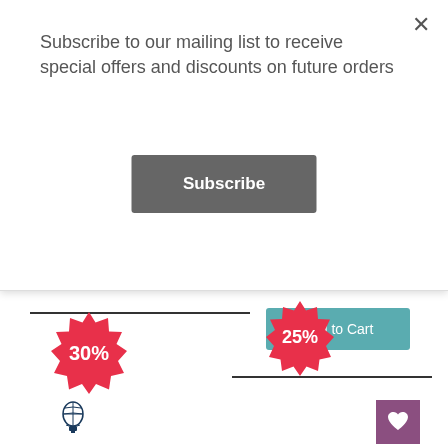Subscribe to our mailing list to receive special offers and discounts on future orders
Subscribe
Add to Cart
[Figure (screenshot): Left product card showing a colorful landscape painting with mountains and lake, with a 30% sale badge and hot air balloon logo overlay]
[Figure (screenshot): Right product card showing a stained glass style nature scene with 25% sale badge and heart/wishlist button]